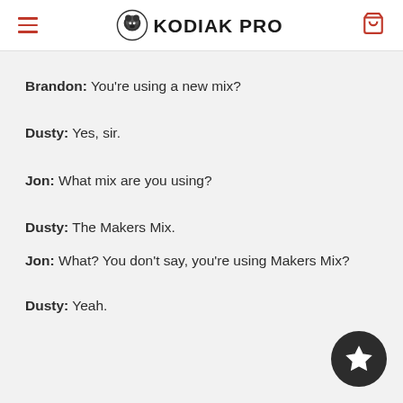KODIAK PRO (header with hamburger menu, logo, and cart icon)
Brandon: You're using a new mix?
Dusty: Yes, sir.
Jon: What mix are you using?
Dusty: The Makers Mix.
Jon: What? You don't say, you're using Makers Mix?
Dusty: Yeah.